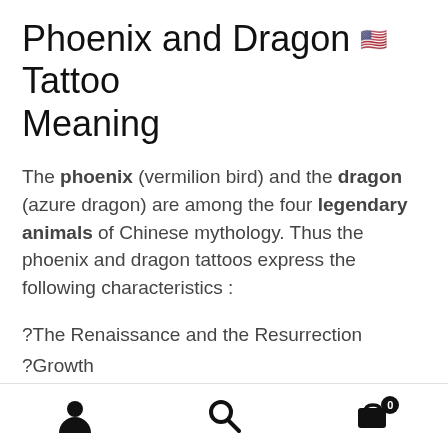Phoenix and Dragon Tattoo Meaning
The phoenix (vermilion bird) and the dragon (azure dragon) are among the four legendary animals of Chinese mythology. Thus the phoenix and dragon tattoos express the following characteristics :
?The Renaissance and the Resurrection
?Growth
?Victories and Challenges
?Power and Strength (partial)
Navigation bar with user, search, and cart icons